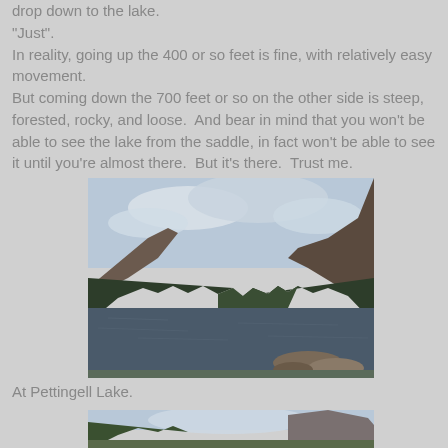drop down to the lake.
"Just".
In reality, going up the 400 or so feet is fine, with relatively easy movement.
But coming down the 700 feet or so on the other side is steep, forested, rocky, and loose.  And bear in mind that you won't be able to see the lake from the saddle, in fact won't be able to see it until you're almost there.  But it's there.  Trust me.
[Figure (photo): A mountain lake (Pettingell Lake) surrounded by evergreen trees and rocky slopes under a cloudy sky, with rocks visible in the foreground.]
At Pettingell Lake.
[Figure (photo): Partial view of another outdoor scene near Pettingell Lake, showing trees and a mountain in the background under a cloudy sky.]